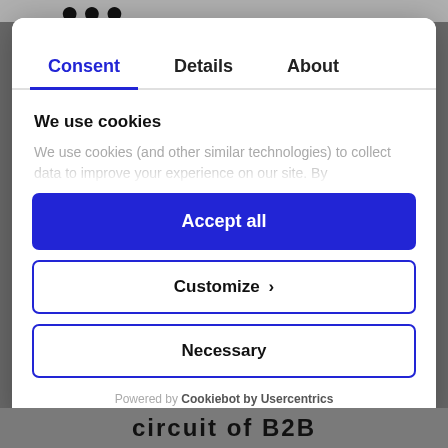[Figure (screenshot): Cookie consent modal dialog with tabs: Consent (active, blue), Details, About. Contains 'We use cookies' heading, faded description text, and three buttons: 'Accept all' (blue filled), 'Customize >' (outlined), 'Necessary' (outlined). Footer shows 'Powered by Cookiebot by Usercentrics'.]
Consent
Details
About
We use cookies
We use cookies (and other similar technologies) to collect data to improve your experience on our site. By
Accept all
Customize  ›
Necessary
Powered by Cookiebot by Usercentrics